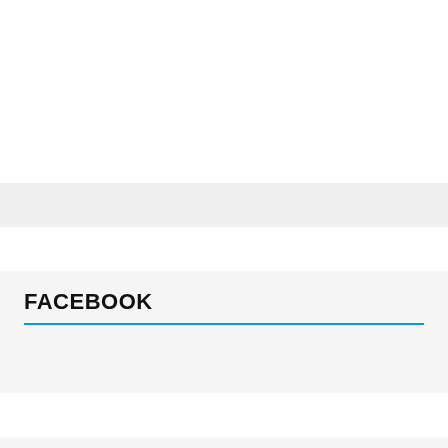FACEBOOK
ALL TIME POPULAR
2018 Salary Grade Table Update